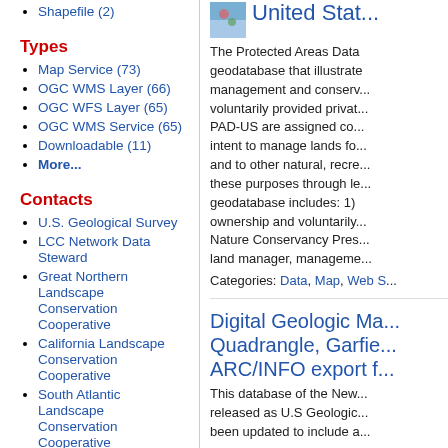Shapefile (2)
Types
Map Service (73)
OGC WMS Layer (66)
OGC WFS Layer (65)
OGC WMS Service (65)
Downloadable (11)
More...
Contacts
U.S. Geological Survey
LCC Network Data Steward
Great Northern Landscape Conservation Cooperative
California Landscape Conservation Cooperative
South Atlantic Landscape Conservation Cooperative
More...
Categories
United Stat...
The Protected Areas Data... geodatabase that illustrate... management and conserv... voluntarily provided privat... PAD-US are assigned co... intent to manage lands fo... and to other natural, recre... these purposes through le... geodatabase includes: 1) ownership and voluntarily... Nature Conservancy Pres... land manager, manageme...
Categories: Data, Map, Web S...
Digital Geologic Ma... Quadrangle, Garfie... ARC/INFO export f...
This database of the New... released as U.S Geologic... been updated to include a...
Categories: Web Site; Tags: 0...